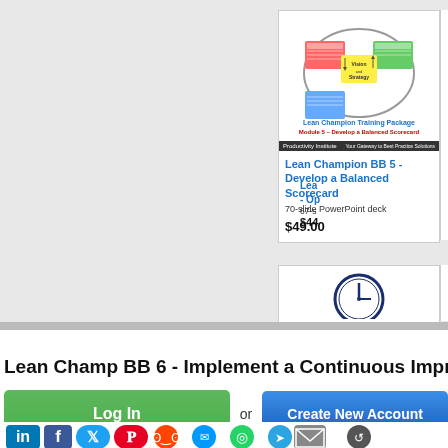[Figure (screenshot): Product card for Lean Champion BB 5 - Develop a Balanced Scorecard training module with cover image showing balanced scorecard diagram]
Lean Champion BB 5 - Develop a Balanced Scorecard
70-slide PowerPoint deck
$49.00
Lea
- Op
67-s
$44
[Figure (screenshot): Partial product card showing a clock/timer graphic]
Lean Champ BB 6 - Implement a Continuous Impr
Log In
or
Create New Account
[Figure (infographic): Social media sharing icons: LinkedIn, Facebook, Twitter, Pinterest, Reddit, Messenger, WhatsApp, Telegram, Email, and another icon]